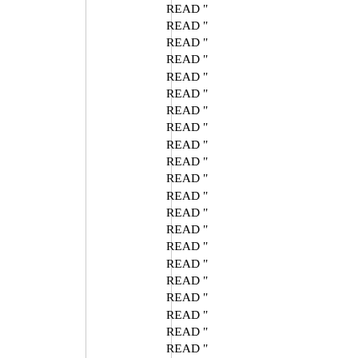READ "
READ "
READ "
READ "
READ "
READ "
READ "
READ "
READ "
READ "
READ "
READ "
READ "
READ "
READ "
READ "
READ "
READ "
READ "
READ "
READ "
READ "
READ "
READ "
READ "